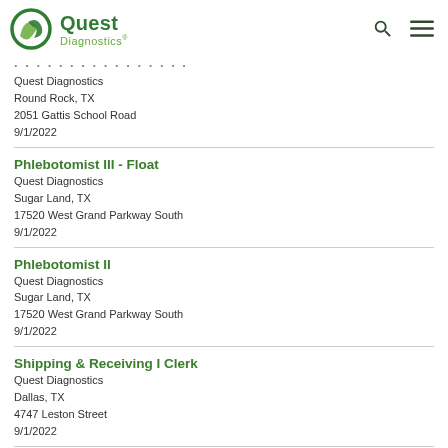Quest Diagnostics
Phlebotomist ...
Quest Diagnostics
Round Rock, TX
2051 Gattis School Road
9/1/2022
Phlebotomist III - Float
Quest Diagnostics
Sugar Land, TX
17520 West Grand Parkway South
9/1/2022
Phlebotomist II
Quest Diagnostics
Sugar Land, TX
17520 West Grand Parkway South
9/1/2022
Shipping & Receiving I Clerk
Quest Diagnostics
Dallas, TX
4747 Leston Street
9/1/2022
Phlebotomist II...